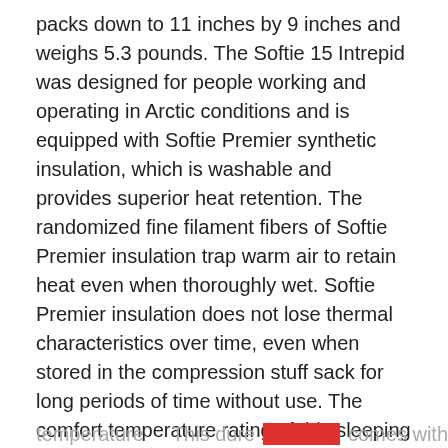packs down to 11 inches by 9 inches and weighs 5.3 pounds. The Softie 15 Intrepid was designed for people working and operating in Arctic conditions and is equipped with Softie Premier synthetic insulation, which is washable and provides superior heat retention. The randomized fine filament fibers of Softie Premier insulation trap warm air to retain heat even when thoroughly wet. Softie Premier insulation does not lose thermal characteristics over time, even when stored in the compression stuff sack for long periods of time without use. The comfort temperature rating of this sleeping bag is 5 degrees Fahrenheit but can go as low as -4 degrees Fahrenheit for experienced campers and outdoors enthusiasts. The Softie 15 Intrepid is equipped with an anti-snag two-way zipper, zip baffle, a mummy shaped design, hanging dry tabs, a draft collar, and a Snugfit hood with an adjustable draw cord to ensure you stay comfortable while you sleep, even when the
temperature     This dure [REDACTED] comes with